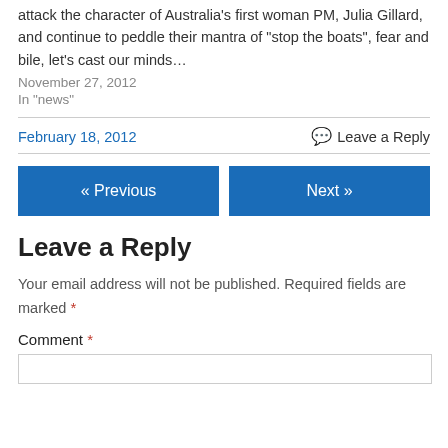attack the character of Australia's first woman PM, Julia Gillard, and continue to peddle their mantra of "stop the boats", fear and bile, let's cast our minds…
November 27, 2012
In "news"
February 18, 2012
Leave a Reply
« Previous
Next »
Leave a Reply
Your email address will not be published. Required fields are marked *
Comment *